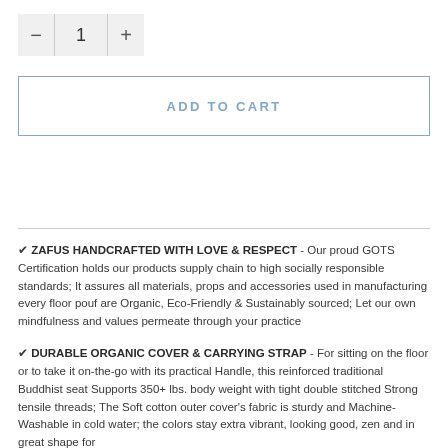[Figure (other): Quantity selector showing minus button, value 1, plus button in a grey box]
[Figure (other): ADD TO CART button with blue border and blue text]
✔ ZAFUS HANDCRAFTED WITH LOVE & RESPECT - Our proud GOTS Certification holds our products supply chain to high socially responsible standards; It assures all materials, props and accessories used in manufacturing every floor pouf are Organic, Eco-Friendly & Sustainably sourced; Let our own mindfulness and values permeate through your practice
✔ DURABLE ORGANIC COVER & CARRYING STRAP - For sitting on the floor or to take it on-the-go with its practical Handle, this reinforced traditional Buddhist seat Supports 350+ lbs. body weight with tight double stitched Strong tensile threads; The Soft cotton outer cover's fabric is sturdy and Machine-Washable in cold water; the colors stay extra vibrant, looking good, zen and in great shape for